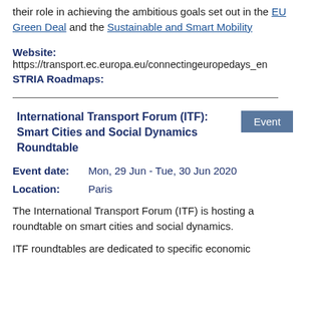their role in achieving the ambitious goals set out in the EU Green Deal and the Sustainable and Smart Mobility
Website: https://transport.ec.europa.eu/connectingeuropedays_en
STRIA Roadmaps:
International Transport Forum (ITF): Smart Cities and Social Dynamics Roundtable
Event date: Mon, 29 Jun - Tue, 30 Jun 2020
Location: Paris
The International Transport Forum (ITF) is hosting a roundtable on smart cities and social dynamics.
ITF roundtables are dedicated to specific economic